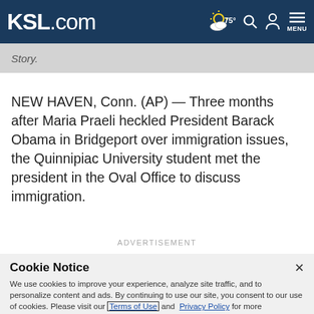KSL.com — 75° Search Account Menu
Story.
NEW HAVEN, Conn. (AP) — Three months after Maria Praeli heckled President Barack Obama in Bridgeport over immigration issues, the Quinnipiac University student met the president in the Oval Office to discuss immigration.
ADVERTISEMENT
Cookie Notice
We use cookies to improve your experience, analyze site traffic, and to personalize content and ads. By continuing to use our site, you consent to our use of cookies. Please visit our Terms of Use and Privacy Policy for more information.